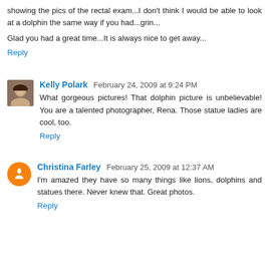showing the pics of the rectal exam...I don't think I would be able to look at a dolphin the same way if you had...grin...
Glad you had a great time...It is always nice to get away...
Reply
Kelly Polark  February 24, 2009 at 9:24 PM
What gorgeous pictures! That dolphin picture is unbelievable! You are a talented photographer, Rena. Those statue ladies are cool, too.
Reply
Christina Farley  February 25, 2009 at 12:37 AM
I'm amazed they have so many things like lions, dolphins and statues there. Never knew that. Great photos.
Reply